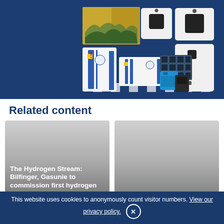[Figure (photo): Product display image on dark navy blue background showing energy storage and solar equipment including white cabinet units with blue accents, a solar panel, blue portable power units, wall-mounted units, and decorative artwork panels]
Related content
[Figure (photo): Article card with gradient grey background and white text: 'The Hydrogen Stream: Bilfinger, Gasunie to commission first hydrogen deep underground storage in']
[Figure (photo): Article card with gradient grey background and white text: 'Bhutan issues tender']
This website uses cookies to anonymously count visitor numbers. View our privacy policy. ×